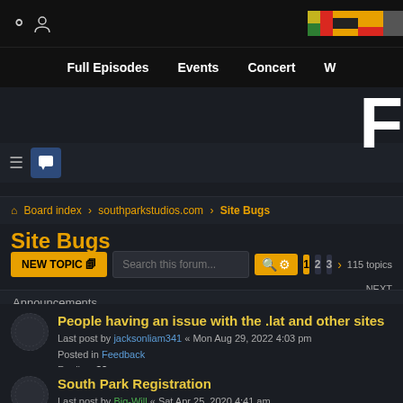South Park Studios forum header with navigation: Full Episodes, Events, Concert, W...
Site Bugs
Board index > southparkstudios.com > Site Bugs
Site Bugs
NEW TOPIC | Search this forum... | 115 topics | 1 2 3 NEXT
Announcements
People having an issue with the .lat and other sites
Last post by jacksonliam341 « Mon Aug 29, 2022 4:03 pm
Posted in Feedback
Replies: 82
South Park Registration
Last post by Big-Will « Sat Apr 25, 2020 4:41 am